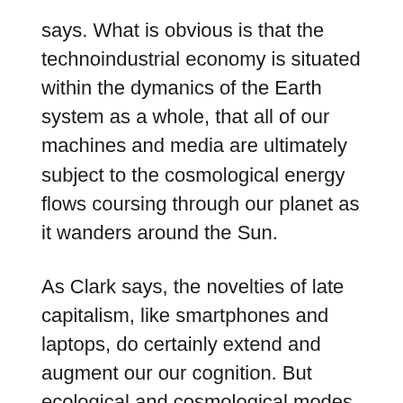says. What is obvious is that the technoindustrial economy is situated within the dymanics of the Earth system as a whole, that all of our machines and media are ultimately subject to the cosmological energy flows coursing through our planet as it wanders around the Sun.
As Clark says, the novelties of late capitalism, like smartphones and laptops, do certainly extend and augment our our cognition. But ecological and cosmological modes of mind extension pre-date and override these more recent cognitive constructs. Our late modern consciousness may have become largely technologized, but to the extent that we remain grounded on this Earth beneath that Sky, our cognitive bills must still be paid not simply in the currency of skull-bound neurons or handheld